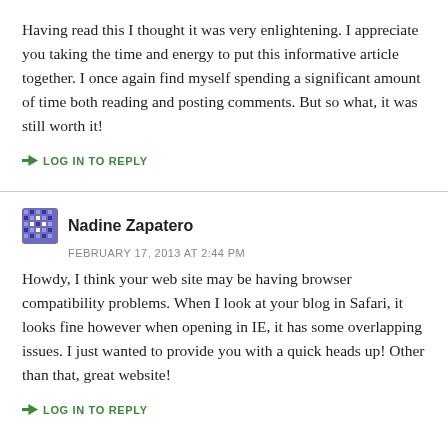Having read this I thought it was very enlightening. I appreciate you taking the time and energy to put this informative article together. I once again find myself spending a significant amount of time both reading and posting comments. But so what, it was still worth it!
→ LOG IN TO REPLY
Nadine Zapatero
FEBRUARY 17, 2013 AT 2:44 PM
Howdy, I think your web site may be having browser compatibility problems. When I look at your blog in Safari, it looks fine however when opening in IE, it has some overlapping issues. I just wanted to provide you with a quick heads up! Other than that, great website!
→ LOG IN TO REPLY